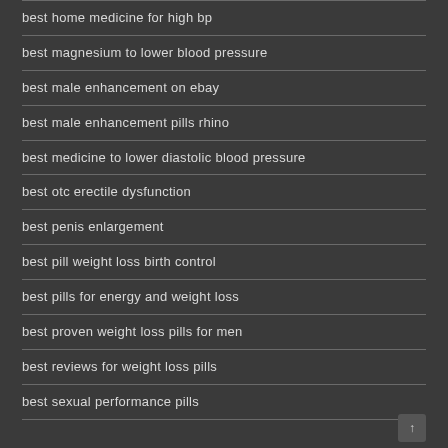best home medicine for high bp
best magnesium to lower blood pressure
best male enhancement on ebay
best male enhancement pills rhino
best medicine to lower diastolic blood pressure
best otc erectile dysfunction
best penis enlargement
best pill weight loss birth control
best pills for energy and weight loss
best proven weight loss pills for men
best reviews for weight loss pills
best sexual performance pills